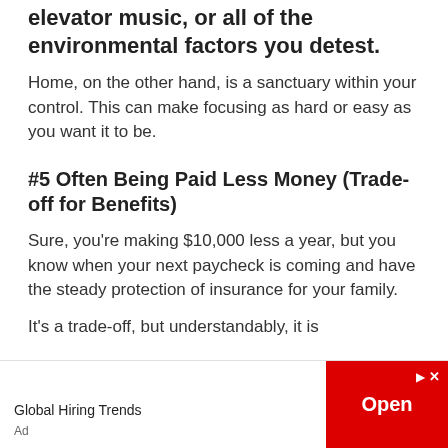elevator music, or all of the environmental factors you detest.
Home, on the other hand, is a sanctuary within your control. This can make focusing as hard or easy as you want it to be.
#5 Often Being Paid Less Money (Trade-off for Benefits)
Sure, you’re making $10,000 less a year, but you know when your next paycheck is coming and have the steady protection of insurance for your family.
It’s a trade-off, but understandably, it is
[Figure (other): Advertisement banner: Global Hiring Trends with an Open button in red]